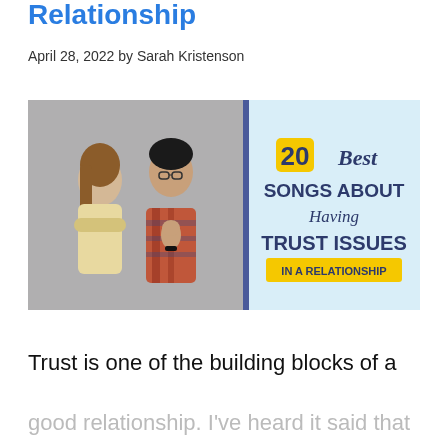Relationship
April 28, 2022 by Sarah Kristenson
[Figure (infographic): Infographic with a photo of a couple in conflict (woman with arms crossed looking away, man with hands clasped appearing to plead) on the left, and on the right a light blue panel with text: '20 Best SONGS ABOUT Having TRUST ISSUES IN A RELATIONSHIP'. The number '20' is highlighted in a yellow box.]
Trust is one of the building blocks of a
good relationship. I've heard it said that